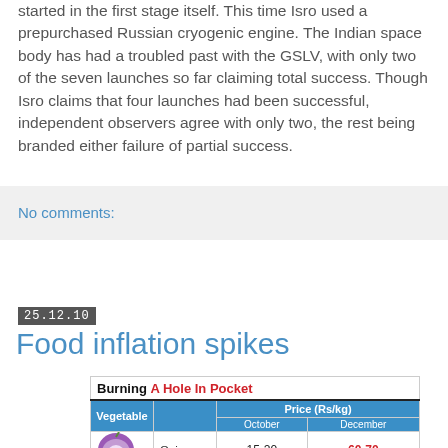started in the first stage itself. This time Isro used a prepurchased Russian cryogenic engine. The Indian space body has had a troubled past with the GSLV, with only two of the seven launches so far claiming total success. Though Isro claims that four launches had been successful, independent observers agree with only two, the rest being branded either failure of partial success.
No comments:
25.12.10
Food inflation spikes
[Figure (table-as-image): Infographic table titled 'Burning A Hole In Pocket' showing vegetable prices (Rs/kg) comparing October and December. Vegetables: Onion 15-20 (Oct) 60-70 (Dec), Tomato 5-20 (Oct) 40-50 (Dec), Broccoli 60 (Oct) 70-80 (Dec), partial row visible showing 60 (Oct) and 80 (Dec).]